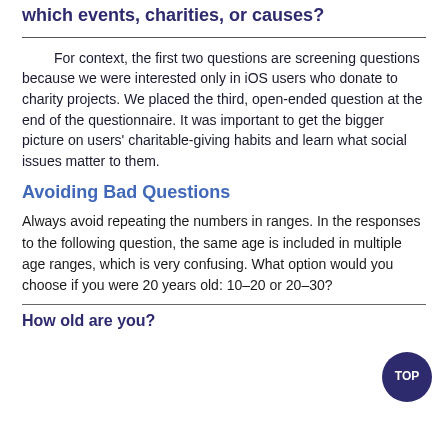which events, charities, or causes?
For context, the first two questions are screening questions because we were interested only in iOS users who donate to charity projects. We placed the third, open-ended question at the end of the questionnaire. It was important to get the bigger picture on users' charitable-giving habits and learn what social issues matter to them.
Avoiding Bad Questions
Always avoid repeating the numbers in ranges. In the responses to the following question, the same age is included in multiple age ranges, which is very confusing. What option would you choose if you were 20 years old: 10–20 or 20–30?
How old are you?